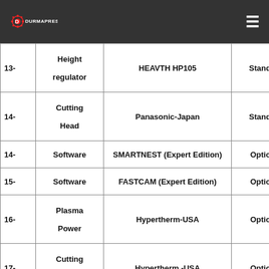DURMAPRESS
| # | Description | Brand/Model | Type |
| --- | --- | --- | --- |
| 13- | Height regulator | HEAVTH HP105 | Standard |
| 14- | Cutting Head | Panasonic-Japan | Standard |
| 14- | Software | SMARTNEST (Expert Edition) | Optional |
| 15- | Software | FASTCAM (Expert Edition) | Optional |
| 16- | Plasma Power | Hypertherm-USA | Optional |
| 17- | Cutting Head | Hypertherm -USA | Optional |
| 18- | Operation System | STARFIRE-Beijing | Optional |
|  | Safety |  |  |